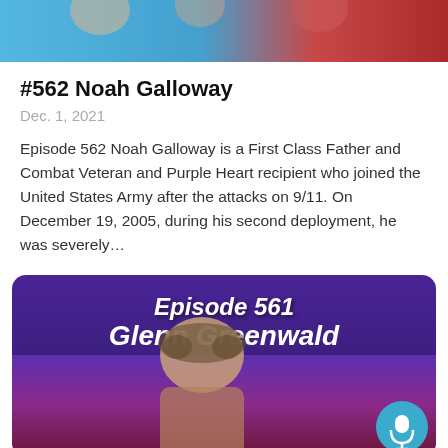[Figure (illustration): Top portion of a podcast episode thumbnail showing illustrated figures against a blue and red background]
#562 Noah Galloway
Dec. 1, 2021
Episode 562 Noah Galloway is a First Class Father and Combat Veteran and Purple Heart recipient who joined the United States Army after the attacks on 9/11. On December 19, 2005, during his second deployment, he was severely...
[Figure (illustration): Podcast episode card for Episode 561 Glenn Greenwald with purple background and photo of Glenn Greenwald, with a microphone button in the bottom right corner]